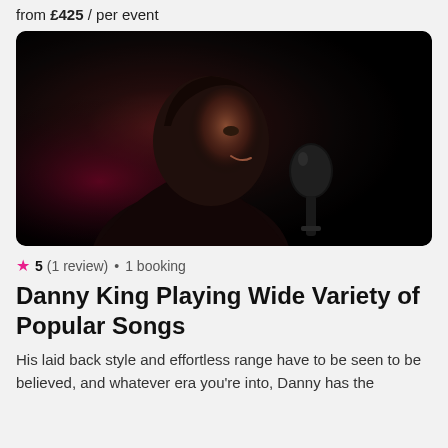from £425 / per event
[Figure (photo): A man singing into a microphone on a dark stage, photographed from a low angle in profile. He is smiling and wearing a dark shirt. The background is black.]
5 (1 review) • 1 booking
Danny King Playing Wide Variety of Popular Songs
His laid back style and effortless range have to be seen to be believed, and whatever era you're into, Danny has the